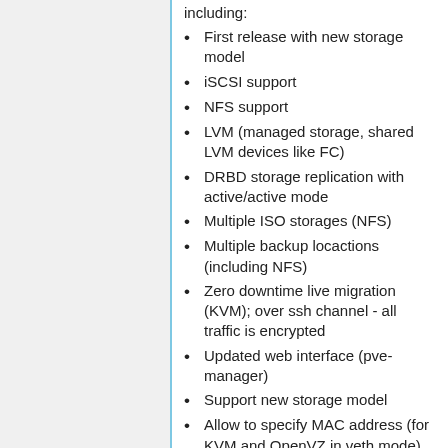including:
First release with new storage model
iSCSI support
NFS support
LVM (managed storage, shared LVM devices like FC)
DRBD storage replication with active/active mode
Multiple ISO storages (NFS)
Multiple backup locactions (including NFS)
Zero downtime live migration (KVM); over ssh channel - all traffic is encrypted
Updated web interface (pve-manager)
Support new storage model
Allow to specify MAC address (for KVM and OpenVZ in veth mode)
Added iSCSLT...